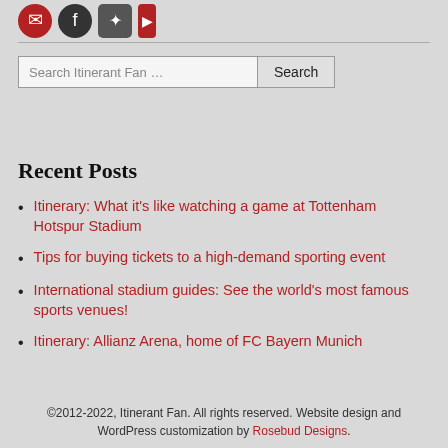[Figure (logo): Partial social media icon buttons (circles/squares in red/dark colors) cropped at top of page]
Search Itinerant Fan …
Recent Posts
Itinerary: What it's like watching a game at Tottenham Hotspur Stadium
Tips for buying tickets to a high-demand sporting event
International stadium guides: See the world's most famous sports venues!
Itinerary: Allianz Arena, home of FC Bayern Munich
©2012-2022, Itinerant Fan. All rights reserved. Website design and WordPress customization by Rosebud Designs.